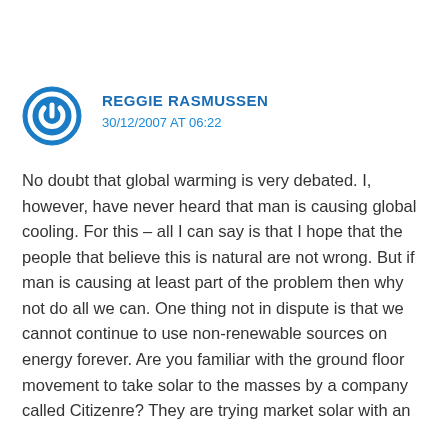REGGIE RASMUSSEN
30/12/2007 AT 06:22
No doubt that global warming is very debated. I, however, have never heard that man is causing global cooling. For this – all I can say is that I hope that the people that believe this is natural are not wrong. But if man is causing at least part of the problem then why not do all we can. One thing not in dispute is that we cannot continue to use non-renewable sources on energy forever. Are you familiar with the ground floor movement to take solar to the masses by a company called Citizenre? They are trying market solar with an